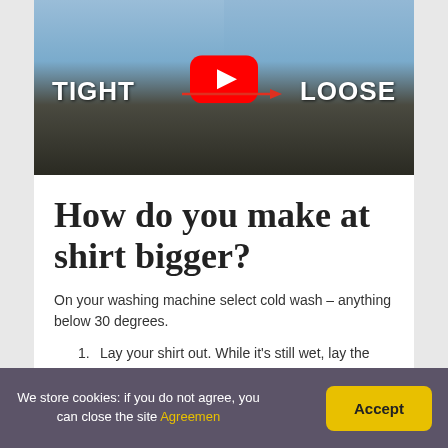[Figure (screenshot): YouTube video thumbnail showing two men in blue sweatshirts side by side. White bold text reads 'TIGHT' on the left and 'LOOSE' on the right with a red arrow pointing from TIGHT to LOOSE. A YouTube play button is centered in the image.]
How do you make at shirt bigger?
On your washing machine select cold wash – anything below 30 degrees.
Lay your shirt out. While it's still wet, lay the shirt on a flat surface.
Stretch the shirt. Stretch the material in the
We store cookies: if you do not agree, you can close the site Agreemen Accept